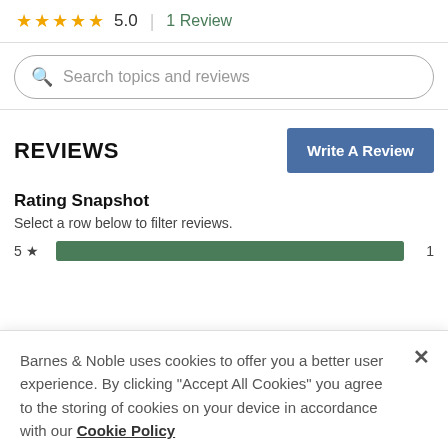★★★★★ 5.0 | 1 Review
Search topics and reviews
REVIEWS
Write A Review
Rating Snapshot
Select a row below to filter reviews.
5 ★   1
Barnes & Noble uses cookies to offer you a better user experience. By clicking "Accept All Cookies" you agree to the storing of cookies on your device in accordance with our Cookie Policy
Manage Preferences
Accept All Cookies